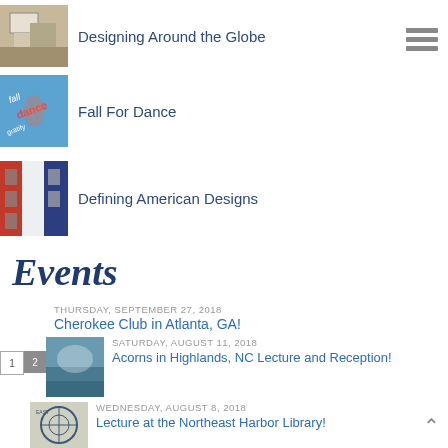Designing Around the Globe
Fall For Dance
Defining American Designs
Events
THURSDAY, SEPTEMBER 27, 2018
Cherokee Club in Atlanta, GA!
SATURDAY, AUGUST 11, 2018
Acorns in Highlands, NC Lecture and Reception!
WEDNESDAY, AUGUST  8, 2018
Lecture at the Northeast Harbor Library!